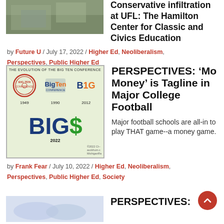[Figure (photo): Aerial or exterior photo of a university building]
Conservative infiltration at UFL: The Hamilton Center for Classic and Civics Education
by Future U / July 17, 2022 / Higher Ed, Neoliberalism, Perspectives, Public Higher Ed
[Figure (infographic): The Evolution of the Big Ten Conference logos from 1949 to 2022, ending with BIG $ logo]
PERSPECTIVES: ‘Mo Money’ is Tagline in Major College Football
Major football schools are all-in to play THAT game--a money game.
by Frank Fear / July 10, 2022 / Higher Ed, Neoliberalism, Perspectives, Public Higher Ed, Society
[Figure (photo): Partial thumbnail for third article]
PERSPECTIVES: